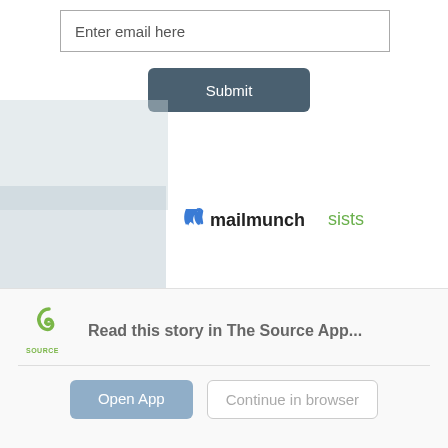Enter email here
Submit
[Figure (photo): Faded background image of a building or crowd scene]
[Figure (photo): Faded image of a group of people outdoors]
[Figure (logo): Mailmunch logo with flame icon and text 'mailmunch']
sists
[Figure (photo): Faded image of a classroom interior]
WJ to hold religous literacy class for teachers over the summer
[Figure (logo): The Source app logo - green swirl with text 'SOURCE']
Read this story in The Source App...
Open App
Continue in browser